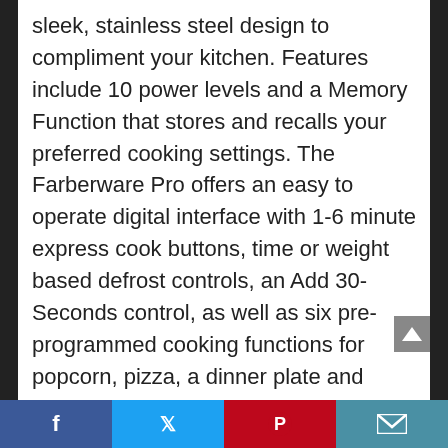sleek, stainless steel design to compliment your kitchen. Features include 10 power levels and a Memory Function that stores and recalls your preferred cooking settings. The Farberware Pro offers an easy to operate digital interface with 1-6 minute express cook buttons, time or weight based defrost controls, an Add 30-Seconds control, as well as six pre-programmed cooking functions for popcorn, pizza, a dinner plate and more. Multi-stage cooking means that you can set the power level to adjust during the cooking cycle for perfect results without interruption. The LCD display provides a clock and kitchen timer. With a generous 1.3 cubic foot cooking